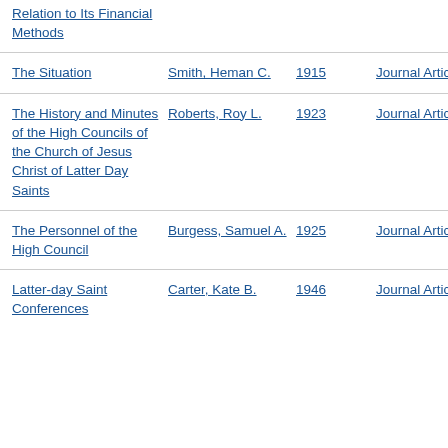Relation to Its Financial Methods | | |
The Situation | Smith, Heman C. | 1915 | Journal Article
The History and Minutes of the High Councils of the Church of Jesus Christ of Latter Day Saints | Roberts, Roy L. | 1923 | Journal Article
The Personnel of the High Council | Burgess, Samuel A. | 1925 | Journal Article
Latter-day Saint Conferences | Carter, Kate B. | 1946 | Journal Article